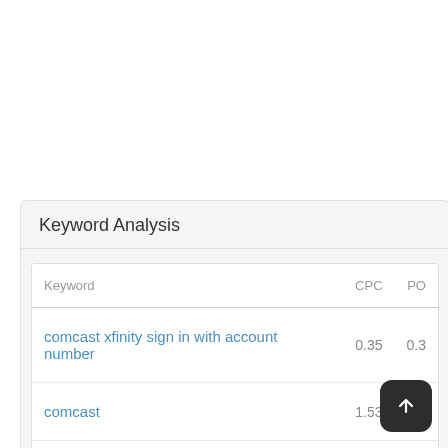Keyword Analysis
| Keyword | CPC | PO |
| --- | --- | --- |
| comcast xfinity sign in with account number | 0.35 | 0.3 |
| comcast | 1.53 | 0.3 |
| xfinity | 1.43 |  |